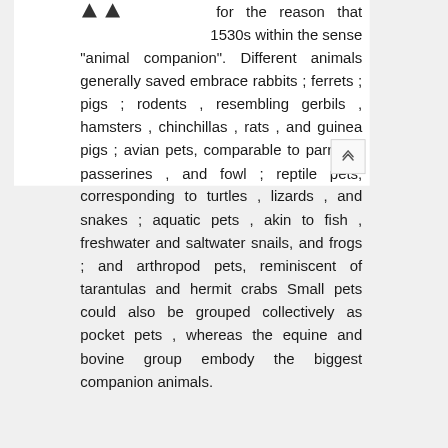for the reason that 1530s within the sense "animal companion". Different animals generally saved embrace rabbits ; ferrets ; pigs ; rodents , resembling gerbils , hamsters , chinchillas , rats , and guinea pigs ; avian pets, comparable to parrots , passerines , and fowl ; reptile pets, corresponding to turtles , lizards , and snakes ; aquatic pets , akin to fish , freshwater and saltwater snails, and frogs ; and arthropod pets, reminiscent of tarantulas and hermit crabs Small pets could also be grouped collectively as pocket pets , whereas the equine and bovine group embody the biggest companion animals.